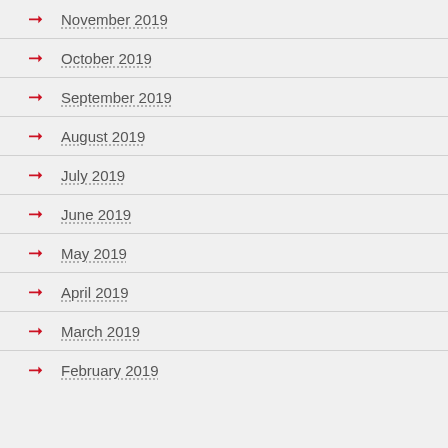November 2019
October 2019
September 2019
August 2019
July 2019
June 2019
May 2019
April 2019
March 2019
February 2019